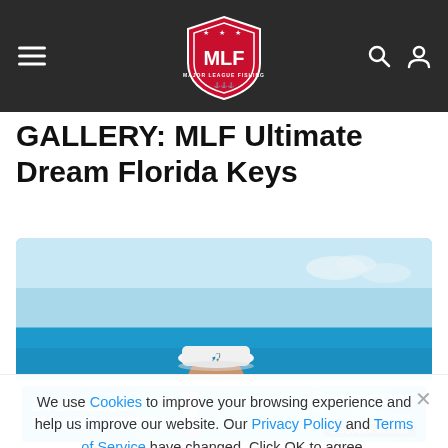MLF Major League Fishing navigation bar with hamburger menu, MLF shield logo, search and user icons
GALLERY: MLF Ultimate Dream Florida Keys
[Figure (photo): Man wearing a white bucket hat and sunglasses on a boat, with blue ocean and sky in the background. Florida Keys fishing trip photo.]
We use Cookies to improve your browsing experience and help us improve our website. Our Privacy Policy and Terms of Service have changed. Click OK to agree.
[Figure (infographic): Mercury Marine advertisement banner: 'EXPERIENCE OUR NEXT STEP FORWARD' with image of Mercury outboard engine and Mercury GO BOLDLY. logo, DISCOVER AVATOR button]